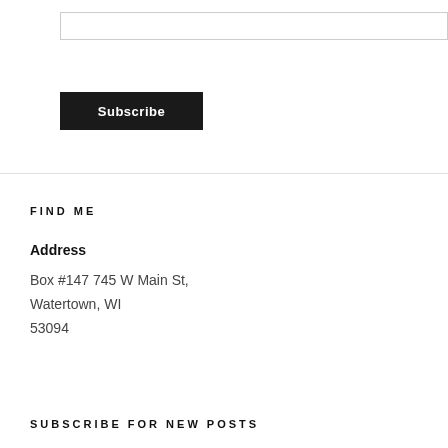[Figure (other): Email input text box (empty, with border)]
Subscribe
FIND ME
Address
Box #147 745 W Main St, Watertown, WI 53094
SUBSCRIBE FOR NEW POSTS